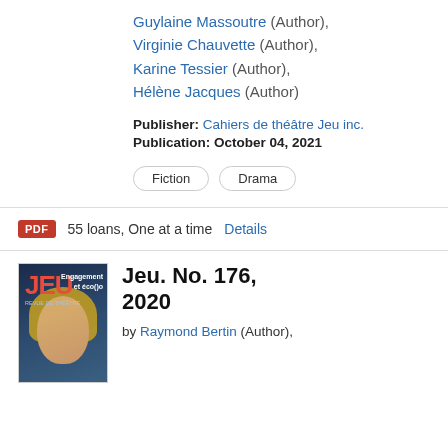Guylaine Massoutre (Author), Virginie Chauvette (Author), Karine Tessier (Author), Hélène Jacques (Author)
Publisher: Cahiers de théâtre Jeu inc.
Publication: October 04, 2021
Fiction
Drama
PDF  55 loans, One at a time  Details
[Figure (photo): Book cover of Jeu magazine No. 176, 2020, showing a woman with blonde hair on a dark blue background, with the red JEU logo in the top left and text 'Engagement et éco()o']
Jeu. No. 176, 2020
by Raymond Bertin (Author),